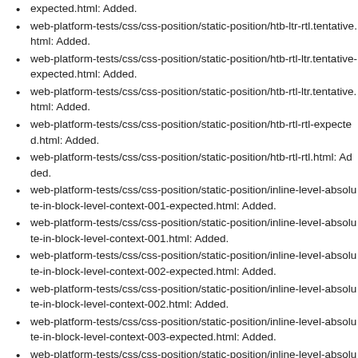expected.html: Added.
web-platform-tests/css/css-position/static-position/htb-ltr-rtl.tentative.html: Added.
web-platform-tests/css/css-position/static-position/htb-rtl-ltr.tentative-expected.html: Added.
web-platform-tests/css/css-position/static-position/htb-rtl-ltr.tentative.html: Added.
web-platform-tests/css/css-position/static-position/htb-rtl-rtl-expected.html: Added.
web-platform-tests/css/css-position/static-position/htb-rtl-rtl.html: Added.
web-platform-tests/css/css-position/static-position/inline-level-absolute-in-block-level-context-001-expected.html: Added.
web-platform-tests/css/css-position/static-position/inline-level-absolute-in-block-level-context-001.html: Added.
web-platform-tests/css/css-position/static-position/inline-level-absolute-in-block-level-context-002-expected.html: Added.
web-platform-tests/css/css-position/static-position/inline-level-absolute-in-block-level-context-002.html: Added.
web-platform-tests/css/css-position/static-position/inline-level-absolute-in-block-level-context-003-expected.html: Added.
web-platform-tests/css/css-position/static-position/inline-level-absolute-in-block-level-context-003.html: Added.
web-platform-tests/css/css-position/static-position/inline-level-absolute-in-block-level-context-004-expected.html: Added.
web-platform-tests/css/css-position/static-position/inline-level-absolute-in-block-level-context-004.html: Added.
web-platform-tests/css/css-position/static-position/inline-level-absolute-in-